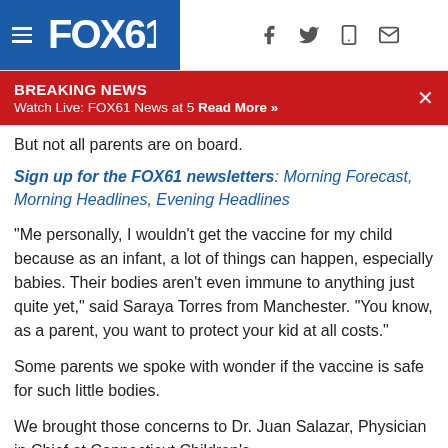FOX61 — Navigation header with hamburger menu and social icons
BREAKING NEWS — Watch Live: FOX61 News at 5 Read More »
But not all parents are on board.
Sign up for the FOX61 newsletters: Morning Forecast, Morning Headlines, Evening Headlines
“Me personally, I wouldn’t get the vaccine for my child because as an infant, a lot of things can happen, especially babies. Their bodies aren’t even immune to anything just quite yet,” said Saraya Torres from Manchester. “You know, as a parent, you want to protect your kid at all costs.”
Some parents we spoke with wonder if the vaccine is safe for such little bodies.
We brought those concerns to Dr. Juan Salazar, Physician in Chief at Connecticut Children’s.
RELATED: A recession could last 2 years according to